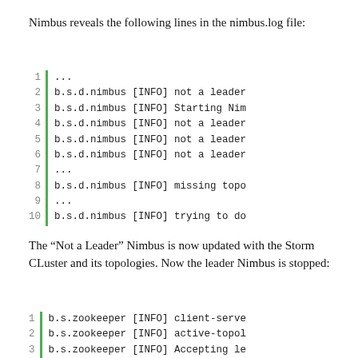Nimbus reveals the following lines in the nimbus.log file:
[Figure (screenshot): Code block showing 10 lines of nimbus.log file with line numbers 1-10 and a green vertical bar. Lines show b.s.d.nimbus [INFO] entries for not a leader, Starting Nim, missing topo, trying to do, and ellipsis lines.]
The “Not a Leader” Nimbus is now updated with the Storm CLuster and its topologies. Now the leader Nimbus is stopped:
[Figure (screenshot): Code block showing 3 lines with line numbers 1-3 and a green vertical bar. Lines show b.s.zookeeper [INFO] entries for client-serve, active-topol, Accepting le.]